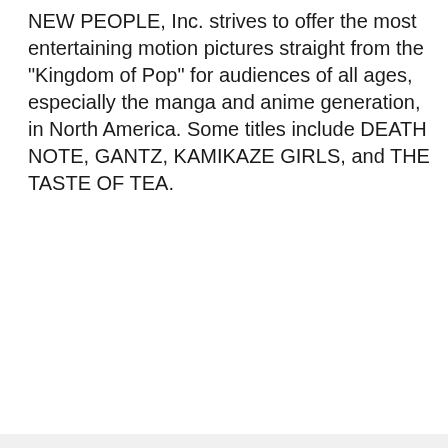NEW PEOPLE, Inc. strives to offer the most entertaining motion pictures straight from the "Kingdom of Pop" for audiences of all ages, especially the manga and anime generation, in North America. Some titles include DEATH NOTE, GANTZ, KAMIKAZE GIRLS, and THE TASTE OF TEA.